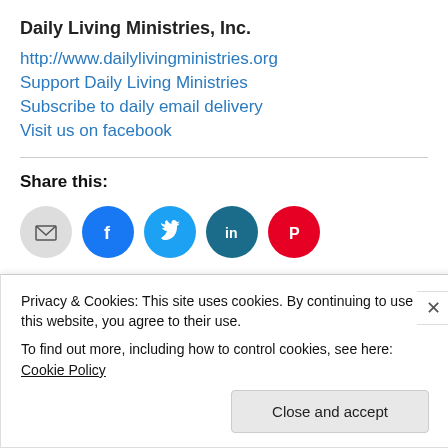Daily Living Ministries, Inc.
http://www.dailylivingministries.org
Support Daily Living Ministries
Subscribe to daily email delivery
Visit us on facebook
Share this:
[Figure (other): Social share buttons: email (grey), facebook (blue), twitter (light blue), linkedin (teal), pinterest (red)]
Loading...
Privacy & Cookies: This site uses cookies. By continuing to use this website, you agree to their use.
To find out more, including how to control cookies, see here: Cookie Policy
Close and accept